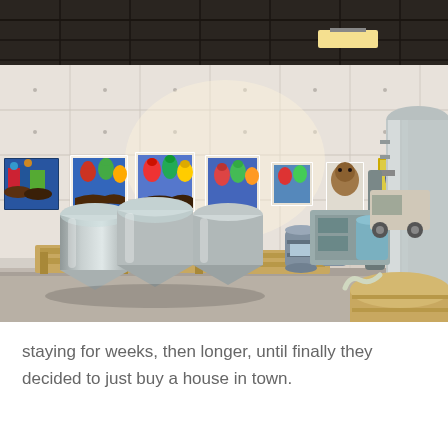[Figure (photo): Interior of a brewery space with stainless steel fermentation tanks on wooden pallets, metal kegs, and colorful horse racing paintings displayed on white drywall walls. Industrial ceiling with exposed black grid and lighting visible above.]
staying for weeks, then longer, until finally they decided to just buy a house in town.